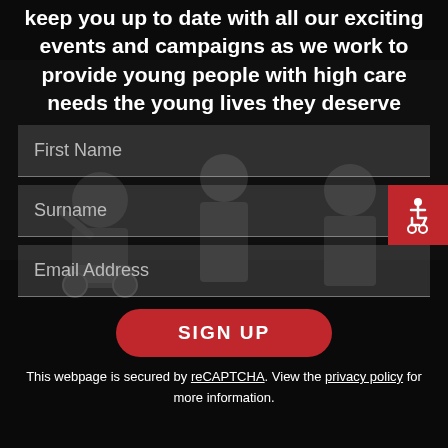[Figure (photo): Dark grayscale photo of people in wheelchairs laughing outdoors, used as page background]
keep you up to date with all our exciting events and campaigns as we work to provide young people with high care needs the young lives they deserve
First Name (form field placeholder)
Surname (form field placeholder)
Email Address (form field placeholder)
SIGN UP
This webpage is secured by reCAPTCHA. View the privacy policy for more information.